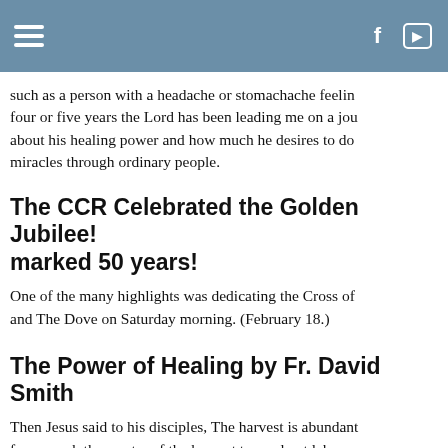such as a person with a headache or stomachache feeling four or five years the Lord has been leading me on a journey about his healing power and how much he desires to do miracles through ordinary people.
The CCR Celebrated the Golden Jubilee! marked 50 years!
One of the many highlights was dedicating the Cross of and The Dove on Saturday morning. (February 18.)
The Power of Healing by Fr. David Smith
Then Jesus said to his disciples, The harvest is abundant few; so ask the master of the harvest to send out laborer he summoned his twelve disciples and gve them authority to drive them out and to cure every disease and every ill this and every time, The kingdom of heaven is at hand if